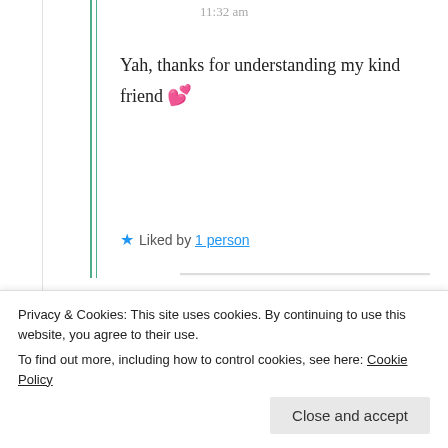11:32 am
Yah, thanks for understanding my kind friend 💕
★ Liked by 1 person
Filarance
20th Jun 2021 at
Privacy & Cookies: This site uses cookies. By continuing to use this website, you agree to their use.
To find out more, including how to control cookies, see here: Cookie Policy
Close and accept